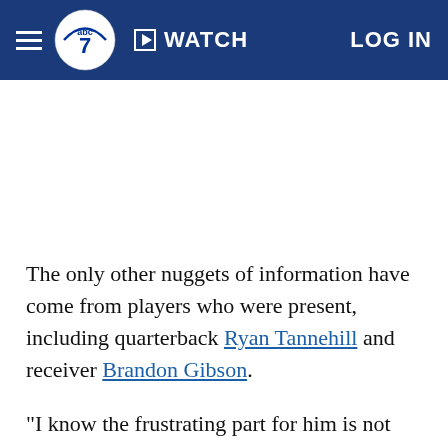ABC7 WATCH LOG IN
The only other nuggets of information have come from players who were present, including quarterback Ryan Tannehill and receiver Brandon Gibson.
"I know the frustrating part for him is not being